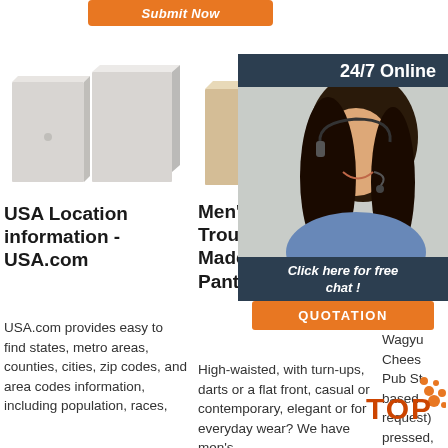[Figure (other): Orange submit now button at top]
[Figure (photo): Two white/grey rectangular brick-like blocks]
USA Location information - USA.com
USA.com provides easy to find states, metro areas, counties, cities, zip codes, and area codes information, including population, races,
[Figure (photo): Two beige/cream stone or brick rectangular blocks]
Men's Custom Trousers, Online Made to Measure Pants ...
High-waisted, with turn-ups, darts or a flat front, casual or contemporary, elegant or for everyday wear? We have men's
[Figure (photo): 24/7 Online customer support advertisement with woman wearing headset, Click here for free chat, QUOTATION button]
Armit Aleho
Wagyu Chees Pub St based request) pressed, griddled, served a hot juicy medium plus with shoestring fries 21 95 Rafi's Royal
[Figure (logo): TOP badge/logo with orange dots]